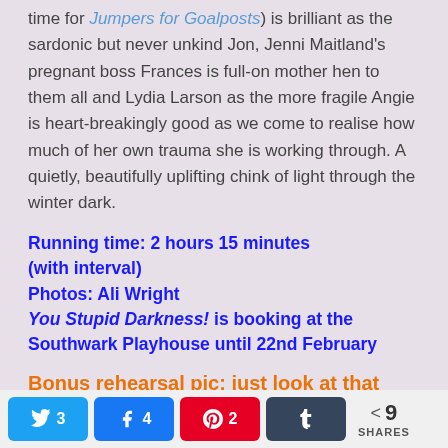time for Jumpers for Goalposts) is brilliant as the sardonic but never unkind Jon, Jenni Maitland's pregnant boss Frances is full-on mother hen to them all and Lydia Larson as the more fragile Angie is heart-breakingly good as we come to realise how much of her own trauma she is working through. A quietly, beautifully uplifting chink of light through the winter dark.
Running time: 2 hours 15 minutes (with interval)
Photos: Ali Wright
You Stupid Darkness! is booking at the Southwark Playhouse until 22nd February
Bonus rehearsal pic: just look at that
Twitter 3  Facebook 4  Pinterest 2  Tumblr  9 SHARES